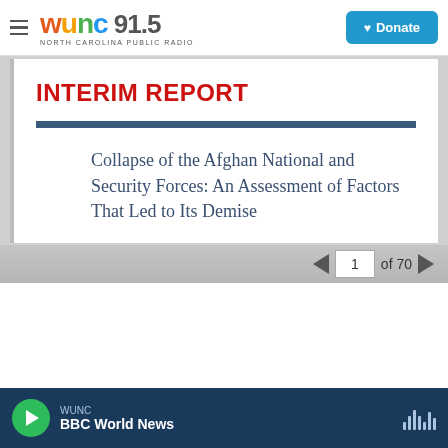WUNC 91.5 NORTH CAROLINA PUBLIC RADIO | Donate
INTERIM REPORT
Collapse of the Afghan National and Security Forces: An Assessment of Factors That Led to Its Demise
1 of 70
WUNC BBC World News